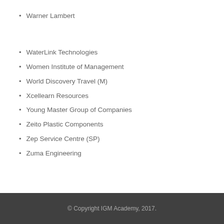Warner Lambert
WaterLink Technologies
Women Institute of Management
World Discovery Travel (M)
Xcellearn Resources
Young Master Group of Companies
Zeito Plastic Components
Zep Service Centre (SP)
Zuma Engineering
© Copyright IGM Academy, 2017.